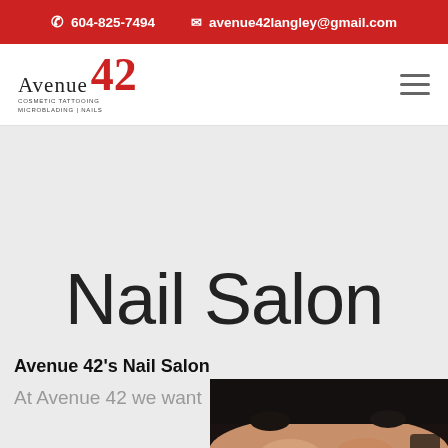📞 604-825-7494   ✉ avenue42langley@gmail.com
[Figure (logo): Avenue 42 logo — 'Avenue' in thin serif text, '42' in large bold red serif, with subtitle text 'COSMETIC TATTOOING MICROBLADING | NAILS']
Nail Salon
Avenue 42's Nail Salon
At Avenue 42 we want
[Figure (photo): Close-up photo of hands with dark nail polish/cosmetic treatment, nail salon context]